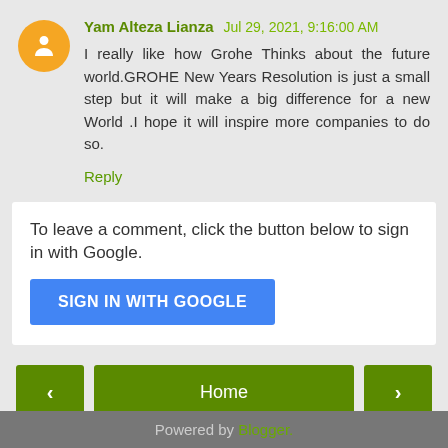Yam Alteza Lianza Jul 29, 2021, 9:16:00 AM
I really like how Grohe Thinks about the future world.GROHE New Years Resolution is just a small step but it will make a big difference for a new World .I hope it will inspire more companies to do so.
Reply
To leave a comment, click the button below to sign in with Google.
SIGN IN WITH GOOGLE
Home
View web version
Powered by Blogger.